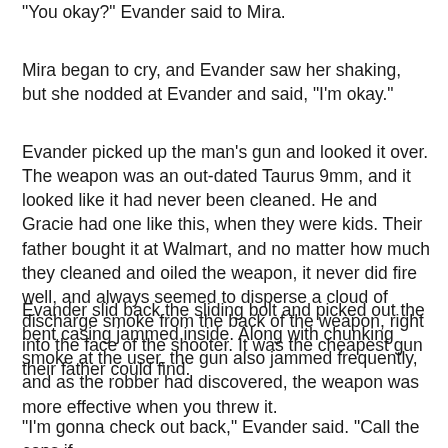"You okay?" Evander said to Mira.
Mira began to cry, and Evander saw her shaking, but she nodded at Evander and said, "I'm okay."
Evander picked up the man's gun and looked it over. The weapon was an out-dated Taurus 9mm, and it looked like it had never been cleaned. He and Gracie had one like this, when they were kids. Their father bought it at Walmart, and no matter how much they cleaned and oiled the weapon, it never did fire well, and always seemed to disperse a cloud of discharge smoke from the back of the weapon, right into the face of the shooter. It was the cheapest gun their father could find.
Evander slid back the sliding bolt and picked out the bent casing jammed inside. Along with chunking smoke at the user, the gun also jammed frequently, and as the robber had discovered, the weapon was more effective when you threw it.
"I'm gonna check out back," Evander said. "Call the cops if you can, but I think they'll probably be on their way soon."